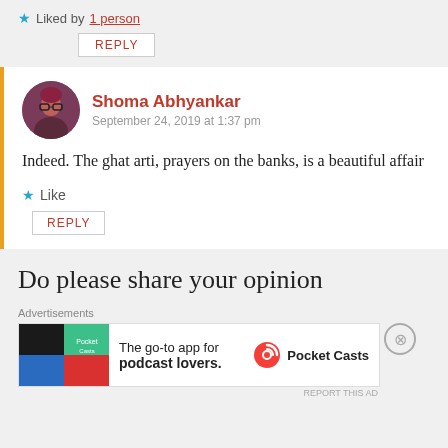★ Liked by 1 person
REPLY
Shoma Abhyankar
September 24, 2019 at 1:37 pm
Indeed. The ghat arti, prayers on the banks, is a beautiful affair
★ Like
REPLY
Do please share your opinion
Advertisements
[Figure (other): Pocket Casts advertisement: The go-to app for podcast lovers.]